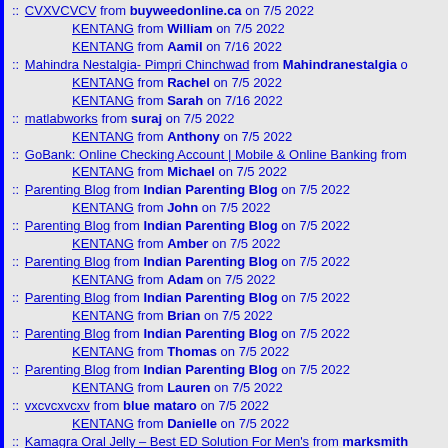:: CVXVCVCV from buyweedonline.ca on 7/5 2022
KENTANG from William on 7/5 2022
KENTANG from Aamil on 7/16 2022
:: Mahindra Nestalgia- Pimpri Chinchwad from Mahindranestalgia on
KENTANG from Rachel on 7/5 2022
KENTANG from Sarah on 7/16 2022
:: matlabworks from suraj on 7/5 2022
KENTANG from Anthony on 7/5 2022
:: GoBank: Online Checking Account | Mobile & Online Banking from
KENTANG from Michael on 7/5 2022
:: Parenting Blog from Indian Parenting Blog on 7/5 2022
KENTANG from John on 7/5 2022
:: Parenting Blog from Indian Parenting Blog on 7/5 2022
KENTANG from Amber on 7/5 2022
:: Parenting Blog from Indian Parenting Blog on 7/5 2022
KENTANG from Adam on 7/5 2022
:: Parenting Blog from Indian Parenting Blog on 7/5 2022
KENTANG from Brian on 7/5 2022
:: Parenting Blog from Indian Parenting Blog on 7/5 2022
KENTANG from Thomas on 7/5 2022
:: Parenting Blog from Indian Parenting Blog on 7/5 2022
KENTANG from Lauren on 7/5 2022
:: vxcvcxvcxv from blue mataro on 7/5 2022
KENTANG from Danielle on 7/5 2022
:: Kamagra Oral Jelly – Best ED Solution For Men's from marksmith
KENTANG from Kevin on 7/5 2022
:: DOTN from Marianne Kaiser on 7/5 2022
KENTANG from John on 7/5 2022
:: buy ammo online from elisa luna941 on 7/4 2022
KENTANG from Justin on 7/5 2022